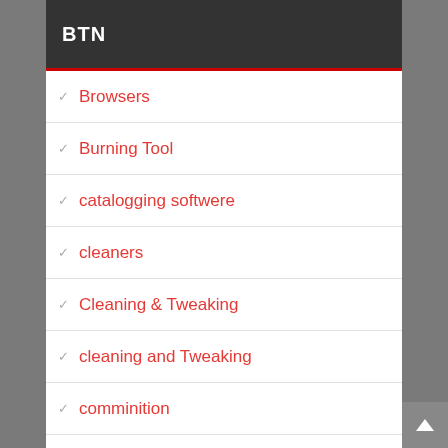BTN
Browsers
Burning Tool
catalogging softwere
cleaners
Cleaning & Tweaking
cleaning and Tweaking
comminition
Communications
Compressors
Converter
Conveter
Data backup
Data Recovery